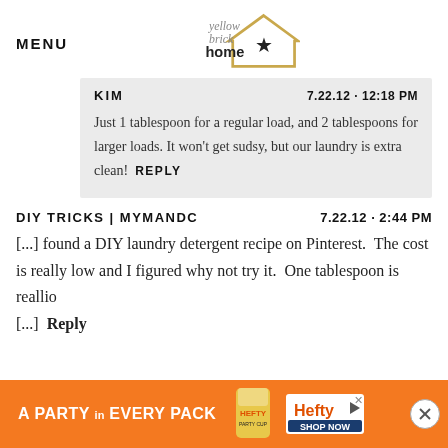MENU | Yellow Brick Home logo
KIM  7.22.12 - 12:18 PM
Just 1 tablespoon for a regular load, and 2 tablespoons for larger loads. It won't get sudsy, but our laundry is extra clean!  REPLY
DIY TRICKS | MYMANDC  7.22.12 - 2:44 PM
[...] found a DIY laundry detergent recipe on Pinterest.  The cost is really low and I figured why not try it.  One tablespoon is reallio
[...]  Reply